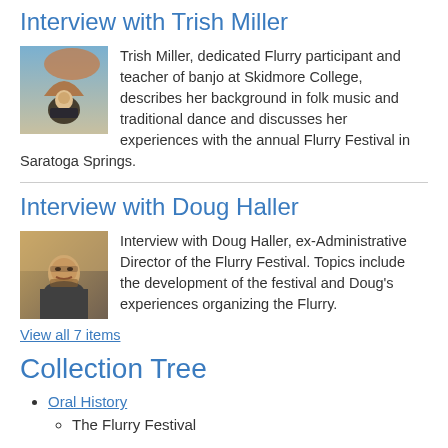Interview with Trish Miller
[Figure (photo): Photo of Trish Miller sitting outdoors near a red rock arch formation]
Trish Miller, dedicated Flurry participant and teacher of banjo at Skidmore College, describes her background in folk music and traditional dance and discusses her experiences with the annual Flurry Festival in Saratoga Springs.
Interview with Doug Haller
[Figure (photo): Photo of Doug Haller, a bearded man with glasses indoors]
Interview with Doug Haller, ex-Administrative Director of the Flurry Festival. Topics include the development of the festival and Doug's experiences organizing the Flurry.
View all 7 items
Collection Tree
Oral History
The Flurry Festival